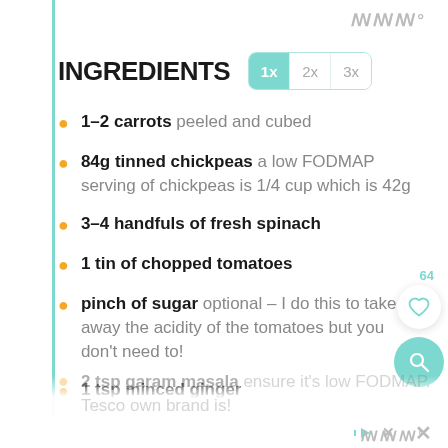INGREDIENTS
1-2 carrots peeled and cubed
84g tinned chickpeas a low FODMAP serving of chickpeas is 1/4 cup which is 42g
3-4 handfuls of fresh spinach
1 tin of chopped tomatoes
pinch of sugar optional – I do this to take away the acidity of the tomatoes but you don't need to!
1 tsp minced ginger
2 tsp garam masala ensure it's low FODMAP. Tesco own brand is!